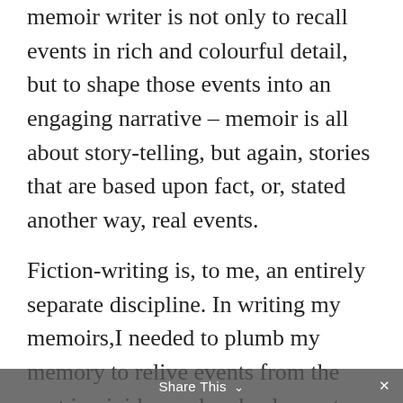memoir writer is not only to recall events in rich and colourful detail, but to shape those events into an engaging narrative – memoir is all about story-telling, but again, stories that are based upon fact, or, stated another way, real events.
Fiction-writing is, to me, an entirely separate discipline. In writing my memoirs,I needed to plumb my memory to relive events from the past in vivid sound and colour – to see what people were wearing, how they moved, where they were sitting or standing, what they said, what I said, etc. – this is a totally different mental activity from conjuring a
Share This ×